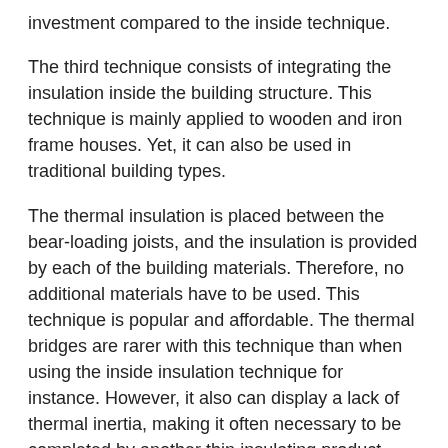investment compared to the inside technique.
The third technique consists of integrating the insulation inside the building structure. This technique is mainly applied to wooden and iron frame houses. Yet, it can also be used in traditional building types.
The thermal insulation is placed between the bear-loading joists, and the insulation is provided by each of the building materials. Therefore, no additional materials have to be used. This technique is popular and affordable. The thermal bridges are rarer with this technique than when using the inside insulation technique for instance. However, it also can display a lack of thermal inertia, making it often necessary to be completed by another thin insulating product.